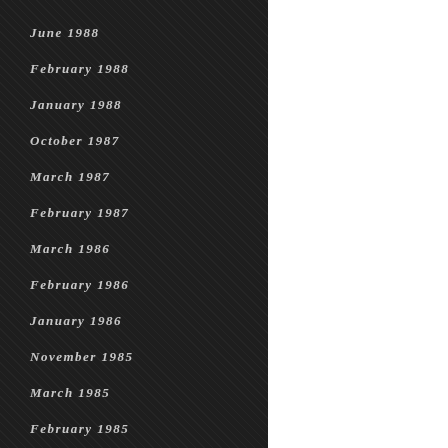June 1988
February 1988
January 1988
October 1987
March 1987
February 1987
March 1986
February 1986
January 1986
November 1985
March 1985
February 1985
June 1984
May 1984